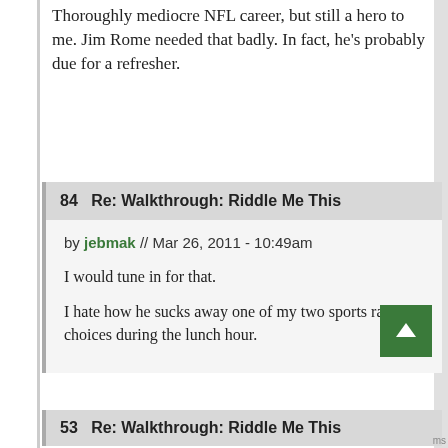Thoroughly mediocre NFL career, but still a hero to me. Jim Rome needed that badly. In fact, he's probably due for a refresher.
84  Re: Walkthrough: Riddle Me This
by jebmak // Mar 26, 2011 - 10:49am
I would tune in for that.
I hate how he sucks away one of my two sports radio choices during the lunch hour.
53  Re: Walkthrough: Riddle Me This